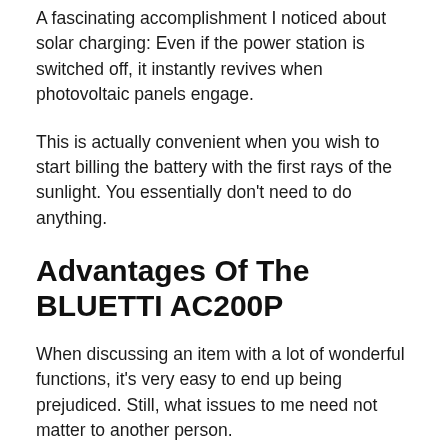A fascinating accomplishment I noticed about solar charging: Even if the power station is switched off, it instantly revives when photovoltaic panels engage.
This is actually convenient when you wish to start billing the battery with the first rays of the sunlight. You essentially don't need to do anything.
Advantages Of The BLUETTI AC200P
When discussing an item with a lot of wonderful functions, it's very easy to end up being prejudiced. Still, what issues to me need not matter to another person.